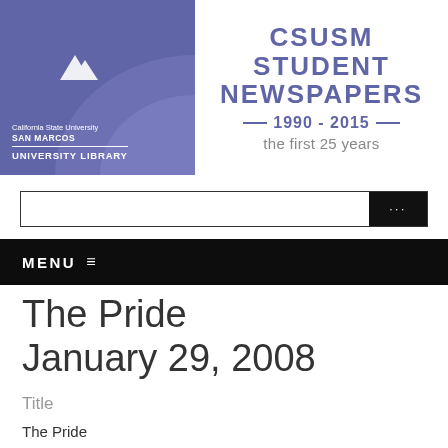[Figure (logo): CSUSM University Library logo with mountain/building graphic on purple background, alongside 'CSUSM STUDENT NEWSPAPERS 1990 - 2015 the first 25 years' text header]
[Figure (screenshot): Search input box with black button showing ellipsis (...)]
MENU ≡
The Pride
January 29, 2008
Title
The Pride
January 29, 2008